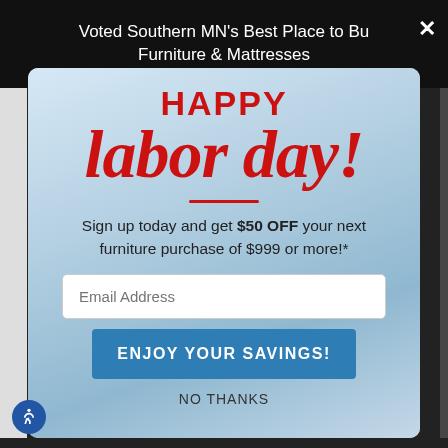Voted Southern MN's Best Place to Buy Furniture & Mattresses
[Figure (screenshot): Labor Day promotional modal popup overlay on a furniture retailer website. Shows 'HAPPY labor day!' in large red text, a promotional message, email input field, and a blue 'ENJOY YOUR SAVINGS!' button.]
HAPPY
labor day!
Sign up today and get $50 OFF your next furniture purchase of $999 or more!*
Email Address
ENJOY YOUR SAVINGS!
NO THANKS